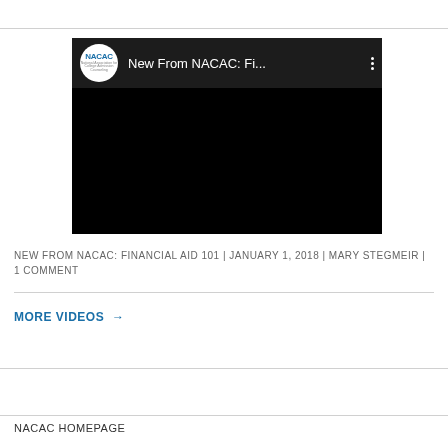[Figure (screenshot): Embedded video thumbnail showing NACAC logo and title 'New From NACAC: Fi...' with a black video area and three-dot menu icon]
NEW FROM NACAC: FINANCIAL AID 101 | JANUARY 1, 2018 | MARY STEGMEIR | 1 COMMENT
MORE VIDEOS →
NACAC HOMEPAGE